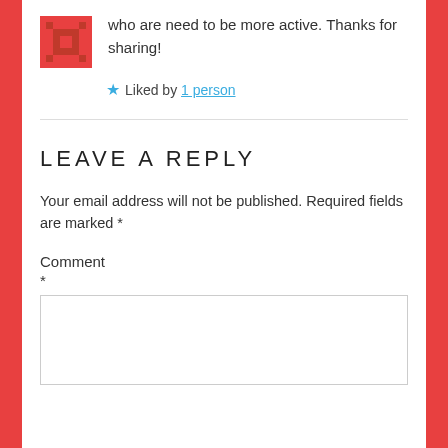who are need to be more active. Thanks for sharing!
★ Liked by 1 person
LEAVE A REPLY
Your email address will not be published. Required fields are marked *
Comment
*